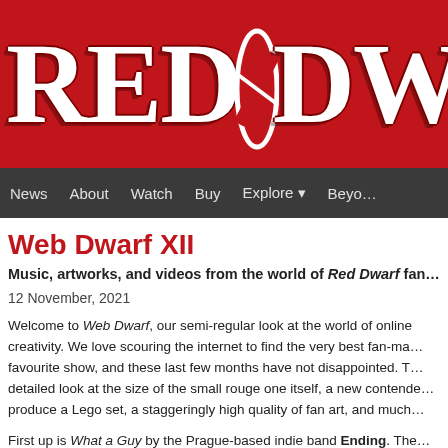[Figure (logo): Red Dwarf logo in white bold serif text on red background]
News   About   Watch   Buy   Explore ▾   Beyo…
Web Dwarf XII
Music, artworks, and videos from the world of Red Dwarf fan…
12 November, 2021
Welcome to Web Dwarf, our semi-regular look at the world of online creativity. We love scouring the internet to find the very best fan-made content about our favourite show, and these last few months have not disappointed. This edition features a detailed look at the size of the small rouge one itself, a new contender in the race to produce a Lego set, a staggeringly high quality of fan art, and much more!
First up is What a Guy by the Prague-based indie band Ending. The latest single from their debut album Muzak, the song is a loving tribute to Ace Rimmer with a specially shot video. Check it out: